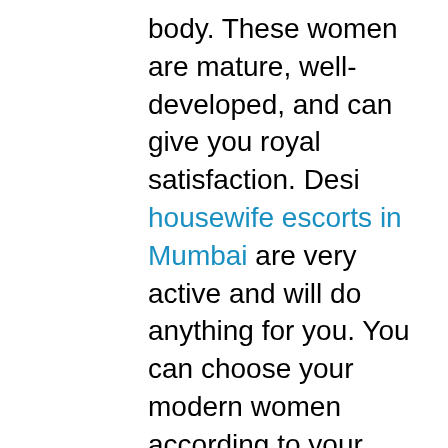body. These women are mature, well-developed, and can give you royal satisfaction. Desi housewife escorts in Mumbai are very active and will do anything for you. You can choose your modern women according to your sexual desires. You can choose from a wide range of Mumbai Escorts to find the perfect lady for you. These are women who join our agency in order to make a handsome amount of money.
There are many escorts available and you can consider the ladies who work alongside us as a way to make extra money. These are the sexy young ladies, who require both cash and sexual pleasure. We can provide you with attractive and sensual women according to your sexual desires the housewife